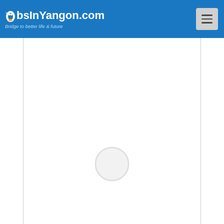JobsInYangon.com - Bridge to better life & future
[Figure (screenshot): White content area with loading spinner circle in the center]
You can not choose? Thousands of jobs waiting for you. Register your CV here. START
Assistant Accountant
Accountancy Jobs
Global Technology Co., Ltd (Global Net)
Yangon (Rangoon)